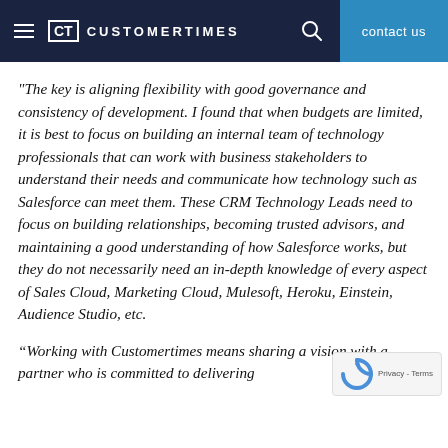CT CUSTOMERTIMES | contact us
"The key is aligning flexibility with good governance and consistency of development. I found that when budgets are limited, it is best to focus on building an internal team of technology professionals that can work with business stakeholders to understand their needs and communicate how technology such as Salesforce can meet them. These CRM Technology Leads need to focus on building relationships, becoming trusted advisors, and maintaining a good understanding of how Salesforce works, but they do not necessarily need an in-depth knowledge of every aspect of Sales Cloud, Marketing Cloud, Mulesoft, Heroku, Einstein, Audience Studio, etc.
“Working with Customertimes means sharing a vision with a partner who is committed to delivering